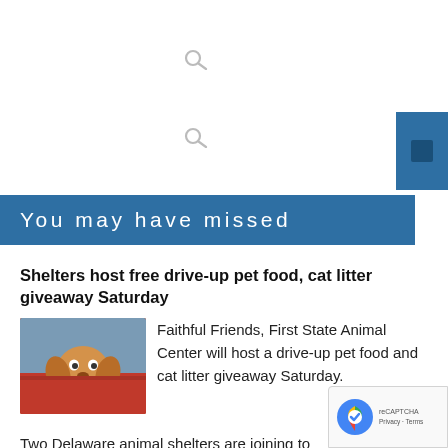[Figure (other): Search icon (magnifying glass) top center]
[Figure (other): Search icon (magnifying glass) middle center]
[Figure (other): Blue button/icon on the right side]
You may have missed
Shelters host free drive-up pet food, cat litter giveaway Saturday
[Figure (photo): Photo of a golden/brown puppy dog leaning out of a car window]
Faithful Friends, First State Animal Center will host a drive-up pet food and cat litter giveaway Saturday.
Two Delaware animal shelters are joining to